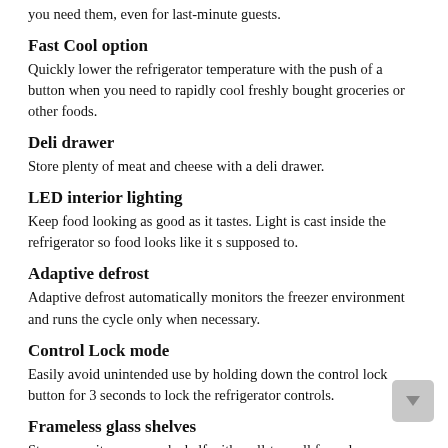you need them, even for last-minute guests.
Fast Cool option
Quickly lower the refrigerator temperature with the push of a button when you need to rapidly cool freshly bought groceries or other foods.
Deli drawer
Store plenty of meat and cheese with a deli drawer.
LED interior lighting
Keep food looking as good as it tastes. Light is cast inside the refrigerator so food looks like it s supposed to.
Adaptive defrost
Adaptive defrost automatically monitors the freezer environment and runs the cycle only when necessary.
Control Lock mode
Easily avoid unintended use by holding down the control lock button for 3 seconds to lock the refrigerator controls.
Frameless glass shelves
Store more items on each shelf with wall-to-wall frameless